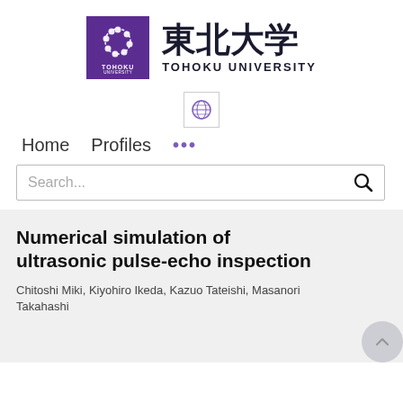[Figure (logo): Tohoku University logo: purple square with white circular emblem, beside Japanese kanji text 東北大学 and TOHOKU UNIVERSITY in Latin letters]
[Figure (logo): Small globe/world icon in a bordered box]
Home   Profiles   ...
Search...
Numerical simulation of ultrasonic pulse-echo inspection
Chitoshi Miki, Kiyohiro Ikeda, Kazuo Tateishi, Masanori Takahashi